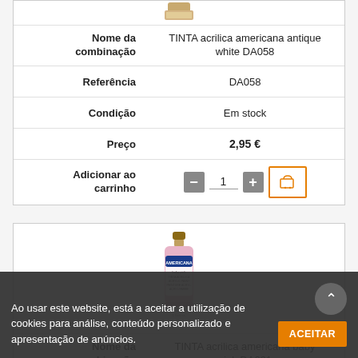[Figure (photo): Small paint bottle of TINTA acrilica americana antique white DA058, partially visible at top]
| Label | Value |
| --- | --- |
| Nome da combinação | TINTA acrilica americana antique white DA058 |
| Referência | DA058 |
| Condição | Em stock |
| Preço | 2,95 € |
| Adicionar ao carrinho | − 1 + [cart icon] |
[Figure (photo): Small paint bottle of TINTA acrilica americana baby pink DA031, pink bottle with Americana label]
| Label | Value |
| --- | --- |
| Nome da combinação | TINTA acrilica americana baby pink DA031 |
| Referência | DA031 |
| Condição | Em stock |
Ao usar este website, está a aceitar a utilização de cookies para análise, conteúdo personalizado e apresentação de anúncios.